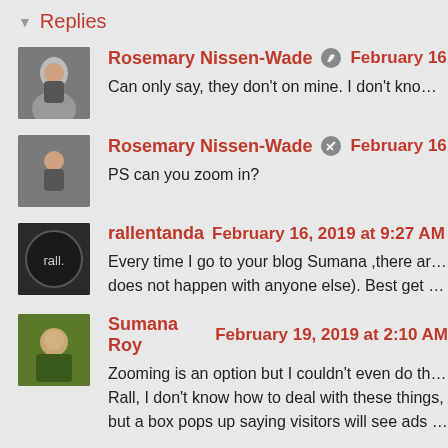Replies
Rosemary Nissen-Wade  February 16, 2019 at
Can only say, they don't on mine. I don't know how
Rosemary Nissen-Wade  February 16, 2019 at
PS can you zoom in?
rallentanda  February 16, 2019 at 9:27 AM
Every time I go to your blog Sumana ,there are s does not happen with anyone else). Best get you po
Sumana Roy  February 19, 2019 at 2:10 AM
Zooming is an option but I couldn't even do that :( Rall, I don't know how to deal with these things, but a box pops up saying visitors will see ads and